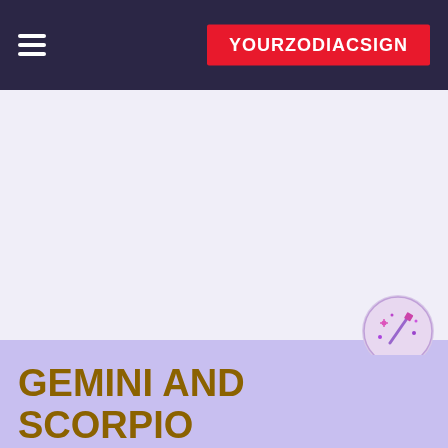YOURZODIACSIGN
[Figure (other): Advertisement placeholder area with light lavender background]
[Figure (illustration): Make a Wish circular badge/sticker with a magic wand illustration and sparkles on light purple background]
GEMINI AND SCORPIO LOVE COMPATIBILITY